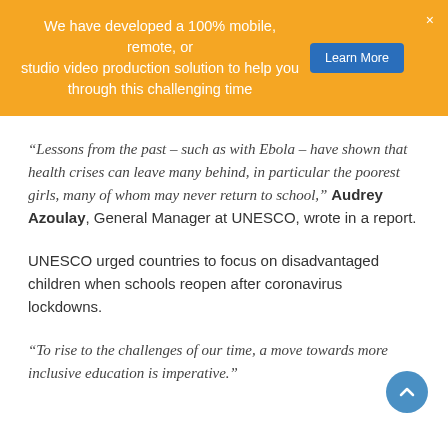We have developed a 100% mobile, remote, or studio video production solution to help you through this challenging time  Learn More  ×
“Lessons from the past – such as with Ebola – have shown that health crises can leave many behind, in particular the poorest girls, many of whom may never return to school,” Audrey Azoulay, General Manager at UNESCO, wrote in a report.
UNESCO urged countries to focus on disadvantaged children when schools reopen after coronavirus lockdowns.
“To rise to the challenges of our time, a move towards more inclusive education is imperative.”